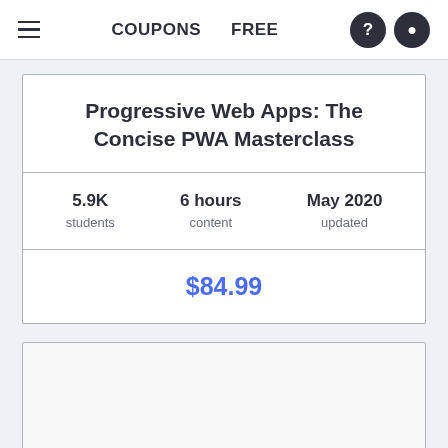COUPONS  FREE
Progressive Web Apps: The Concise PWA Masterclass
| 5.9K students | 6 hours content | May 2020 updated |
$84.99